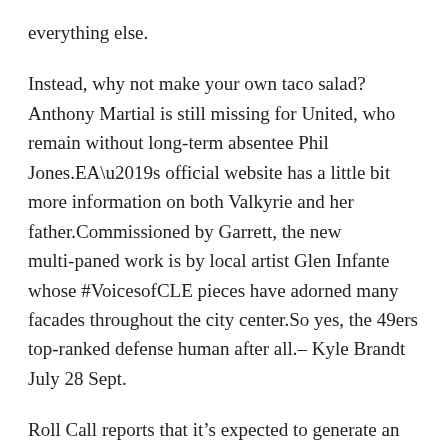everything else.
Instead, why not make your own taco salad? Anthony Martial is still missing for United, who remain without long-term absentee Phil Jones.EA’s official website has a little bit more information on both Valkyrie and her father.Commissioned by Garrett, the new multi-paned work is by local artist Glen Infante whose #VoicesofCLE pieces have adorned many facades throughout the city center.So yes, the 49ers top-ranked defense human after all.– Kyle Brandt July 28 Sept.
Roll Call reports that it’s expected to generate an estimated $8 billion in extra tax revenue through the 2031 fiscal year.More From GOBankingRates.Led the team with seven tackles in addition to recording his first career sack and one forced fumble at Cin.It’s a sweet